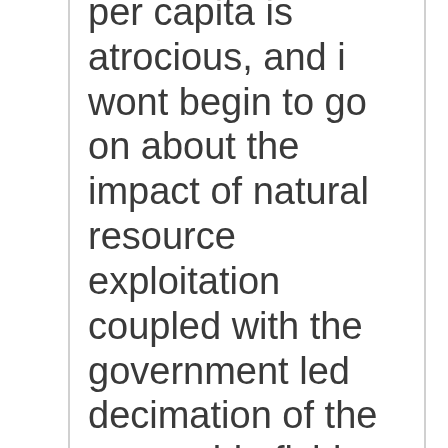per capita is atrocious, and i wont begin to go on about the impact of natural resource exploitation coupled with the government led decimation of the renewable fishing industry that was the history and lifeblood of the island. Recently, the expansion of tourism is adding to more waste in pursuit of income